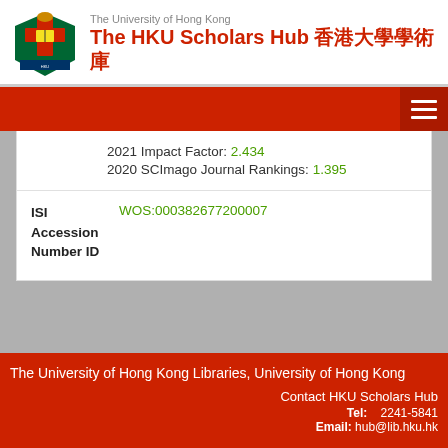The University of Hong Kong — The HKU Scholars Hub 香港大學學術庫
| Field | Value |
| --- | --- |
|  | 2021 Impact Factor: 2.434
2020 SCImago Journal Rankings: 1.395 |
| ISI Accession Number ID | WOS:000382677200007 |
The University of Hong Kong Libraries, University of Hong Kong
Contact HKU Scholars Hub
Tel: 2241-5841
Email: hub@lib.hku.hk